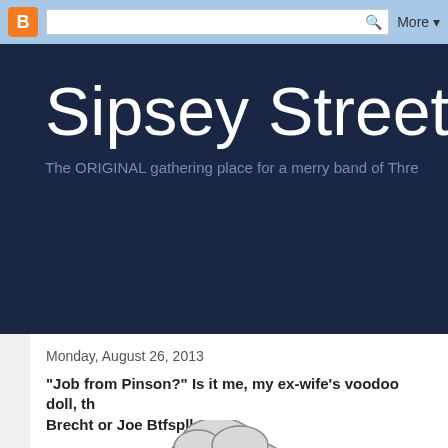[Figure (screenshot): Blogger navigation bar with orange B icon, search box with magnifying glass, and 'More' dropdown button on a light blue background]
Sipsey Street Ir
The ORIGINAL gathering place for a merry band of Thre
Monday, August 26, 2013
"Job from Pinson?" Is it me, my ex-wife's voodoo doll, th Brecht or Joe Btfsplk?
"He who laughs has not yet been told the terrib news." -- Bertolt Brecht.
[Figure (illustration): Partial view of a cartoon cloud or storm cloud illustration at the bottom of the page]